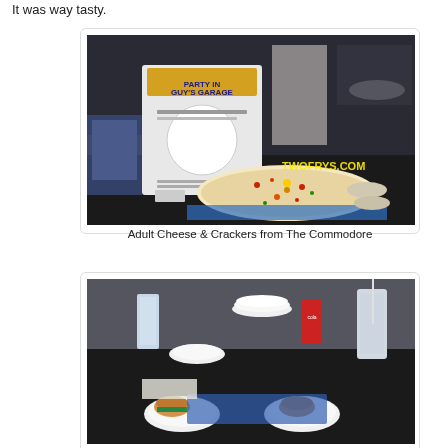It was way tasty.
[Figure (photo): Photo of Adult Cheese & Crackers dish on a buffet table with a sign reading 'PARTY IN GUY'S GARAGE' and TWOFRYS.COM watermark. Large oval platter with colorful toppings surrounded by bowls.]
Adult Cheese & Crackers from The Commodore
[Figure (photo): Photo of food items on a dark table including small sandwiches/sliders on white plates, drinks, stacked white plates, and a blue menu/map.]